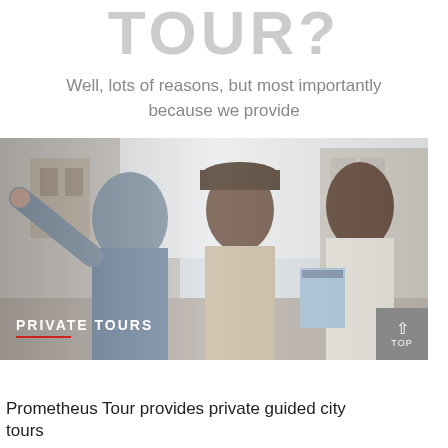TOUR?
Well, lots of reasons, but most importantly because we provide
[Figure (photo): Three young women tourists on a city street. One woman in a denim jacket is pointing forward with her left hand. The middle woman wears a hat and smiles. The third woman on the right holds a guidebook and smiles. In the lower left corner, text reads PRIVATE TOURS with a red underline.]
Prometheus Tour provides private guided city tours